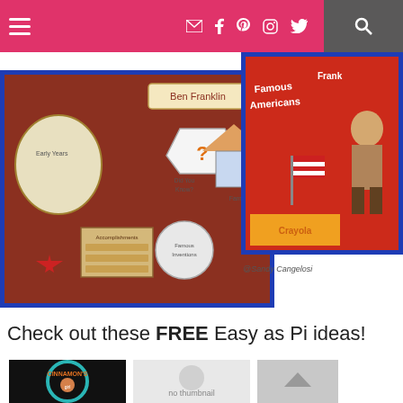Navigation bar with hamburger menu, social media icons (email, facebook, pinterest, instagram, twitter), and search icon
[Figure (photo): Ben Franklin lapbook on red background with 'Ben Franklin' label, question mark, family house, accomplishments, did you know sections]
[Figure (photo): Famous Americans display board with Ben Franklin figure, US flag, crayon box, red background]
@Sandy Cangelosi
Check out these FREE Easy as Pi ideas!
[Figure (photo): Cinnamon's logo/thumbnail - circular teal border with cartoon girl]
[Figure (photo): No thumbnail placeholder image]
[Figure (photo): Scroll to top arrow button - grey box]